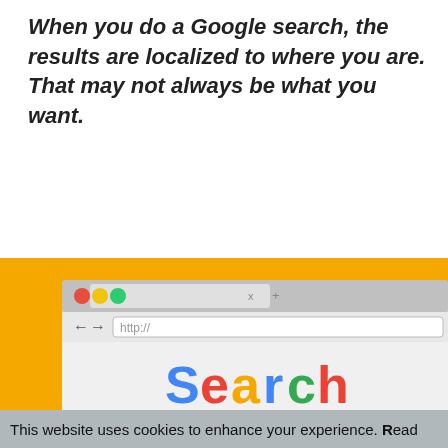When you do a Google search, the results are localized to where you are. That may not always be what you want.
[Figure (illustration): Illustration of a browser window showing a Google-like search interface with colored 'Search' text, an address bar with http://, traffic-light window controls (red, yellow, green), a search input box, and a Go button. The browser window sits on an orange/yellow background.]
This website uses cookies to enhance your experience. Read